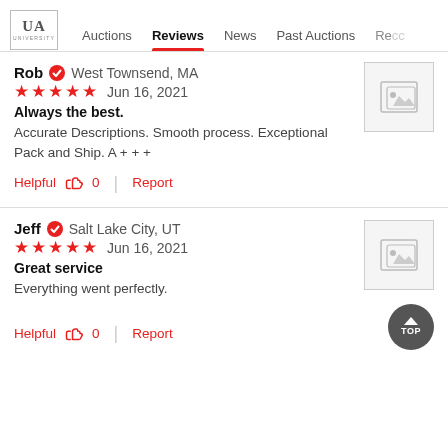UA University | Auctions | Reviews | News | Past Auctions | Re...
Rob  West Townsend, MA
★★★★★  Jun 16, 2021
Always the best.
Accurate Descriptions. Smooth process. Exceptional Pack and Ship. A + + +
Helpful 0  Report
Jeff  Salt Lake City, UT
★★★★★  Jun 16, 2021
Great service
Everything went perfectly.
Helpful 0  Report